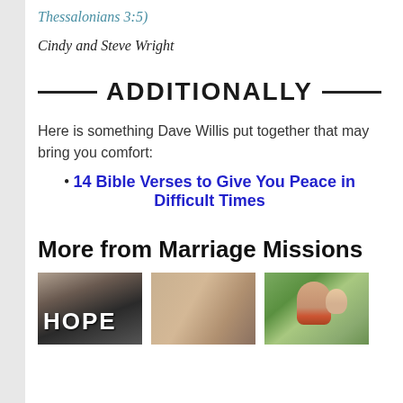Thessalonians 3:5)
Cindy and Steve Wright
— ADDITIONALLY —
Here is something Dave Willis put together that may bring you comfort:
14 Bible Verses to Give You Peace in Difficult Times
More from Marriage Missions
[Figure (photo): Three photos: a HOPE sign, a close-up of hands, and a woman holding a baby outdoors]